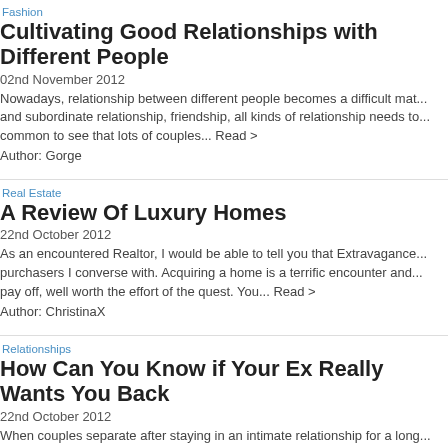Fashion
Cultivating Good Relationships with Different People
02nd November 2012
Nowadays, relationship between different people becomes a difficult mat... and subordinate relationship, friendship, all kinds of relationship needs to... common to see that lots of couples... Read >
Author: Gorge
Real Estate
A Review Of Luxury Homes
22nd October 2012
As an encountered Realtor, I would be able to tell you that Extravagance... purchasers I converse with. Acquiring a home is a terrific encounter and... pay off, well worth the effort of the quest. You... Read >
Author: ChristinaX
Relationships
How Can You Know if Your Ex Really Wants You Back
22nd October 2012
When couples separate after staying in an intimate relationship for a long... to recover from the breakup. The period right after any separation is one... Nevertheless, as time passes by there's ... Read >